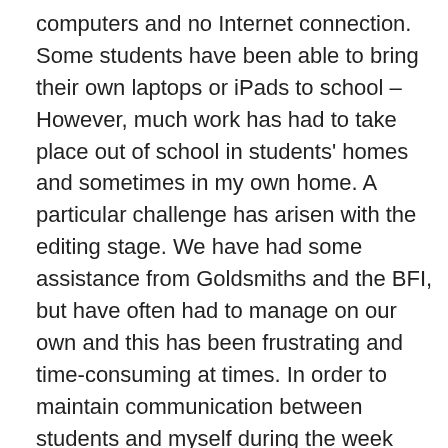computers and no Internet connection. Some students have been able to bring their own laptops or iPads to school –However, much work has had to take place out of school in students' homes and sometimes in my own home. A particular challenge has arisen with the editing stage. We have had some assistance from Goldsmiths and the BFI, but have often had to manage on our own and this has been frustrating and time-consuming at times. In order to maintain communication between students and myself during the week and in holidays, much use has been made of What'sApp. This has proved very helpful in providing practical and moral support as we have worked through the film-making process.
Two of the films created by students in the first year of the project were Profiteroles and Freeze. Both films were